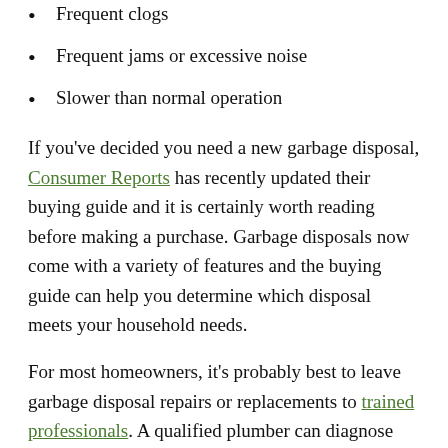Frequent clogs
Frequent jams or excessive noise
Slower than normal operation
If you've decided you need a new garbage disposal, Consumer Reports has recently updated their buying guide and it is certainly worth reading before making a purchase. Garbage disposals now come with a variety of features and the buying guide can help you determine which disposal meets your household needs.
For most homeowners, it's probably best to leave garbage disposal repairs or replacements to trained professionals. A qualified plumber can diagnose the problem and carry out the right solution, whether that is